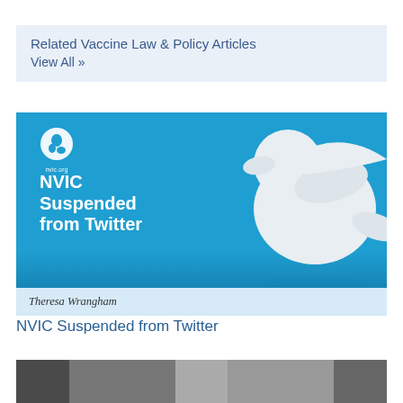Related Vaccine Law & Policy Articles
View All »
[Figure (illustration): Article card for 'NVIC Suspended from Twitter' featuring a blue background with the NVIC logo, bold white text 'NVIC Suspended from Twitter', and a 3D white Twitter bird logo on the right. Below the image is the author name 'Theresa Wrangham' on a light blue background.]
NVIC Suspended from Twitter
[Figure (photo): Partial bottom photo, content not fully visible, appears to show an indoor scene.]